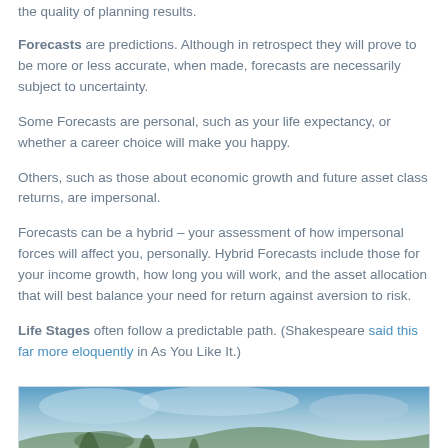the quality of planning results.
Forecasts are predictions. Although in retrospect they will prove to be more or less accurate, when made, forecasts are necessarily subject to uncertainty.
Some Forecasts are personal, such as your life expectancy, or whether a career choice will make you happy.
Others, such as those about economic growth and future asset class returns, are impersonal.
Forecasts can be a hybrid – your assessment of how impersonal forces will affect you, personally. Hybrid Forecasts include those for your income growth, how long you will work, and the asset allocation that will best balance your need for return against aversion to risk.
Life Stages often follow a predictable path. (Shakespeare said this far more eloquently in As You Like It.)
[Figure (photo): A scenic outdoor photo, partially visible at the bottom of the page, showing a blue sky and landscape.]